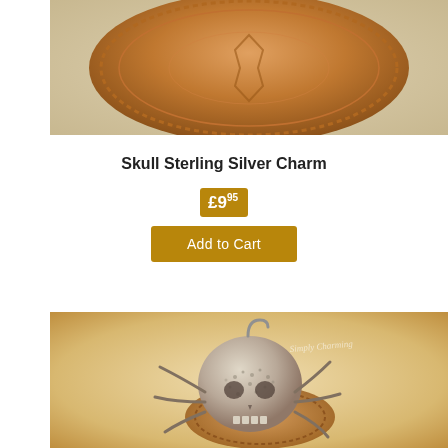[Figure (photo): Close-up of a round copper coin with decorative engraving, on a light beige background]
Skull Sterling Silver Charm
£9.95
Add to Cart
[Figure (photo): Silver skull charm with spider-like legs resting on a copper coin against a warm beige background, with watermark 'Simply Charming']